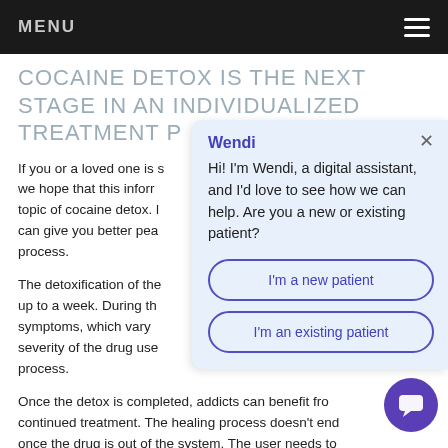MENU
COCAINE DETOX IS THE NEXT STAGE IN AN INDIVIDUALIZED TREATMENT P[LAN]
If you or a loved one is s[truggling with cocaine addiction,] we hope that this infor[mation is helpful on the] topic of cocaine detox. [Knowing more about detox] can give you better pea[ce of mind about the detox] process.
The detoxification of the [body from cocaine can last] up to a week. During th[is time, you may experience] symptoms, which vary [based on factors like the] severity of the drug use[, diet, physical health, and the] process.
[Figure (screenshot): Chat popup widget from Wendi digital assistant with name 'Wendi', message 'Hi! I'm Wendi, a digital assistant, and I'd love to see how we can help. Are you a new or existing patient?', two buttons: 'I'm a new patient' and 'I'm an existing patient', and a close X button.]
Once the detox is completed, addicts can benefit fro[m] continued treatment. The healing process doesn't end [once the drug is out of the system. The user needs to]